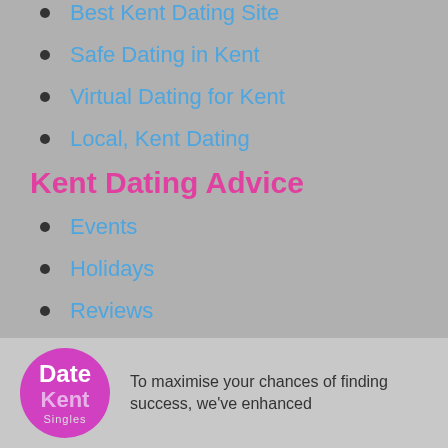Best Kent Dating Site
Safe Dating in Kent
Virtual Dating for Kent
Local, Kent Dating
Kent Dating Advice
Events
Holidays
Reviews
Privacy Policy
Terms of Use
[Figure (logo): Date Kent Singles logo — pink circle with white text 'Date' and lighter 'Kent' and 'Singles' below]
To maximise your chances of finding success, we've enhanced